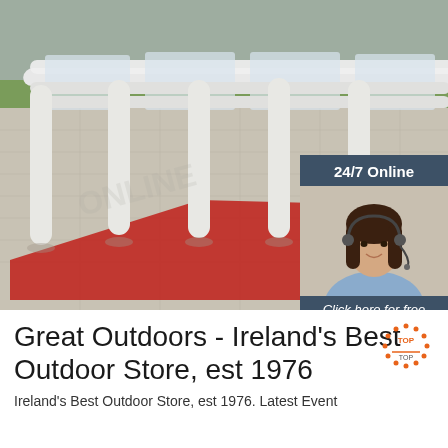[Figure (photo): Outdoor inflatable white tent structure with transparent roof panels and tubular frame legs, set up on a paved area with a red carpet/mat underneath. Green outdoor background. An overlay in the bottom-right of the image shows a customer service agent (woman with headset) and a '24/7 Online' banner with 'Click here for free chat!' text and an orange QUOTATION button.]
Great Outdoors - Ireland's Best Outdoor Store, est 1976
Ireland's Best Outdoor Store, est 1976. Latest Event